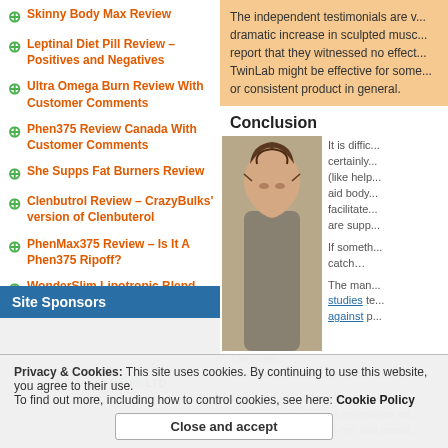Skinny Body Max Review
Leptinal Diet Pill Review – Positives and Negatives
Ultra Omega Burn Review With Customer Comments
Phen375 Review Canada With Customer Comments
She Supps Fat Burners Review
Clenbutrol Review – CrazyBulks' version of Clenbuterol
PhenMax375 Review – Is It A Phen375 Ripoff?
WonderSlim Lipotropic Blend Review
Site Sponsors
Advanced Health LTD
The independent testimonials are v... dramatic increase in sculpted musc... report that they witnessed no effect... TwinLab might be effective for some... or consistent product in general.
Conclusion
It is diffic... certainly... (like help... aid body... facilitate... are supp...
If someth... catch...
The man... studies te... against p...
The majo... other hand, would offer some sort of...
This product... quantities, you will not experience an... appears a bit over-the-top and sensa...
Privacy & Cookies: This site uses cookies. By continuing to use this website, you agree to their use. To find out more, including how to control cookies, see here: Cookie Policy
Close and accept